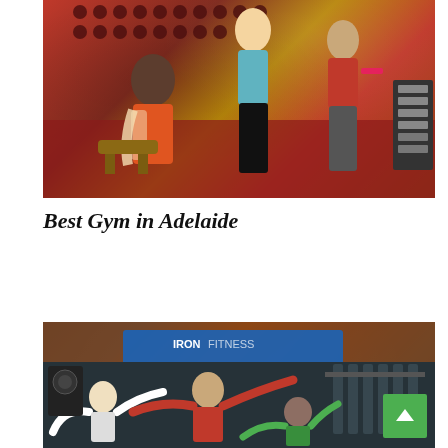[Figure (photo): Women working out in a gym with red flooring, one with a towel around her neck, another stretching at a ballet barre, and another lifting dumbbells near a weight rack.]
Best Gym in Adelaide
[Figure (photo): People doing a stretching or aerobics class in a gym studio, with blue banner signage in the background and exercise equipment visible. A scroll-to-top green button is overlaid at the bottom right.]